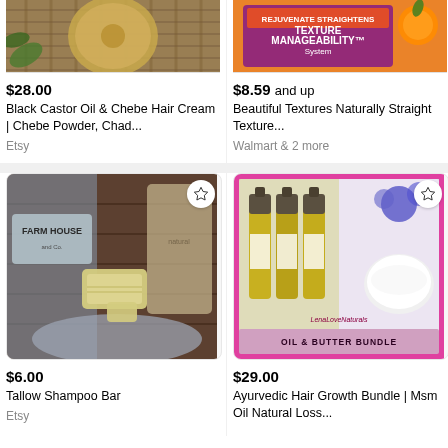[Figure (photo): Partial top image of a product with basket/natural texture background, clipped at top - Black Castor Oil & Chebe Hair Cream product]
$28.00
Black Castor Oil & Chebe Hair Cream | Chebe Powder, Chad...
Etsy
[Figure (photo): Partial top image of Beautiful Textures Naturally Straight Texture Manageability System product on orange/yellow background, clipped at top]
$8.59 and up
Beautiful Textures Naturally Straight Texture...
Walmart & 2 more
[Figure (photo): Photo of handmade soap bars on a cloth near a Farm House sign - Tallow Shampoo Bar product listing on Etsy]
$6.00
Tallow Shampoo Bar
Etsy
[Figure (photo): Photo of oil bottles and butter in a pink/magenta framed image with text 'LenaLoveNaturals Oil & Butter Bundle' - Ayurvedic Hair Growth Bundle product]
$29.00
Ayurvedic Hair Growth Bundle | Msm Oil Natural Loss...
Etsy